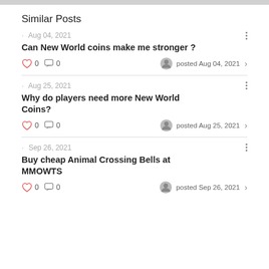Similar Posts
Aug 04, 2021 — Can New World coins make me stronger ? — 0 likes, 0 comments — posted Aug 04, 2021
Aug 25, 2021 — Why do players need more New World Coins? — 0 likes, 0 comments — posted Aug 25, 2021
Sep 26, 2021 — Buy cheap Animal Crossing Bells at MMOWTS — 0 likes, 0 comments — posted Sep 26, 2021